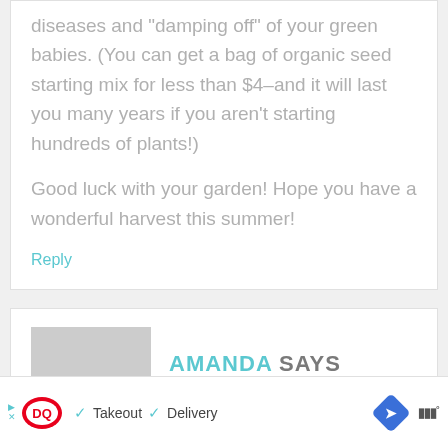diseases and "damping off" of your green babies. (You can get a bag of organic seed starting mix for less than $4–and it will last you many years if you aren't starting hundreds of plants!)
Good luck with your garden! Hope you have a wonderful harvest this summer!
Reply
AMANDA SAYS
[Figure (other): Advertisement banner: Dairy Queen logo with checkmarks for Takeout and Delivery options, navigation arrow icon, and Wunderground icon]